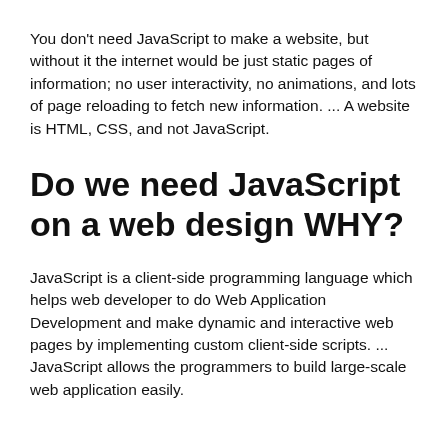You don't need JavaScript to make a website, but without it the internet would be just static pages of information; no user interactivity, no animations, and lots of page reloading to fetch new information. ... A website is HTML, CSS, and not JavaScript.
Do we need JavaScript on a web design WHY?
JavaScript is a client-side programming language which helps web developer to do Web Application Development and make dynamic and interactive web pages by implementing custom client-side scripts. ... JavaScript allows the programmers to build large-scale web application easily.